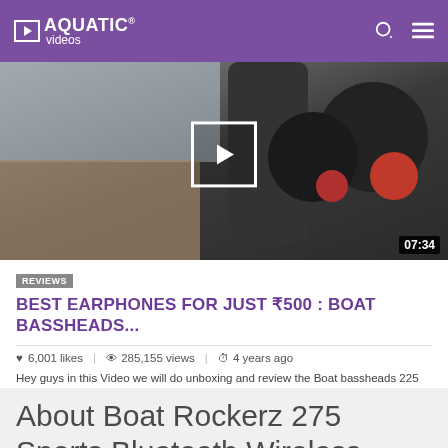AQUATIC videos
[Figure (screenshot): Video thumbnail showing earphones/earbuds with red tips against a blurred outdoor background. Duration shown as 07:34 with a play button overlay.]
REVIEWS
BEST EARPHONES FOR JUST ₹500 : BOAT BASSHEADS...
6,001 likes | 285,155 views | 4 years ago
Hey guys in this Video we will do unboxing and review the Boat bassheads 225 after using for more than 1 month. This...
About Boat Rockerz 275 Sports Bluetooth Wireless Earphone for Rs. 2,499